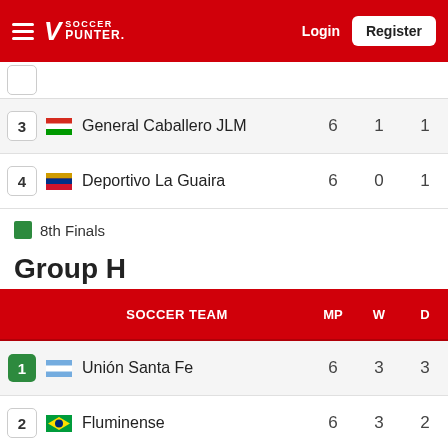Soccer Punter — Login / Register
| # | SOCCER TEAM | MP | W | D |
| --- | --- | --- | --- | --- |
| 3 | General Caballero JLM | 6 | 1 | 1 |
| 4 | Deportivo La Guaira | 6 | 0 | 1 |
8th Finals
Group H
| # | SOCCER TEAM | MP | W | D |
| --- | --- | --- | --- | --- |
| 1 | Unión Santa Fe | 6 | 3 | 3 |
| 2 | Fluminense | 6 | 3 | 2 |